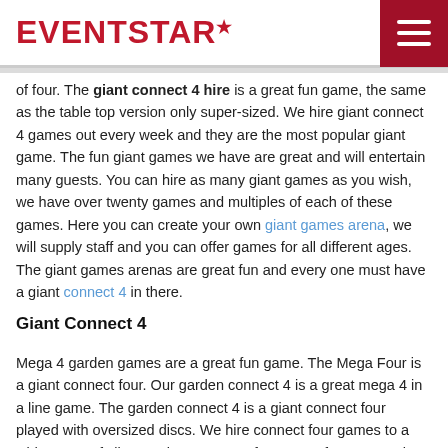EVENTSTAR
of four. The giant connect 4 hire is a great fun game, the same as the table top version only super-sized. We hire giant connect 4 games out every week and they are the most popular giant game. The fun giant games we have are great and will entertain many guests. You can hire as many giant games as you wish, we have over twenty games and multiples of each of these games. Here you can create your own giant games arena, we will supply staff and you can offer games for all different ages. The giant games arenas are great fun and every one must have a giant connect 4 in there.
Giant Connect 4
Mega 4 garden games are a great fun game. The Mega Four is a giant connect four. Our garden connect 4 is a great mega 4 in a line game. The garden connect 4 is a giant connect four played with oversized discs. We hire connect four games to a wide range of clients. Hire connect 4 for a great fun game. Hire mega 4 and keep many guests entertained. We hire garden connect 4 games as part